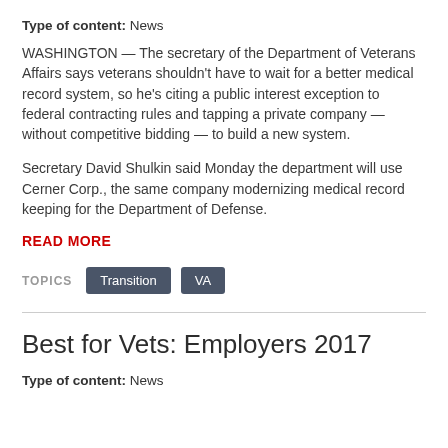Type of content: News
WASHINGTON — The secretary of the Department of Veterans Affairs says veterans shouldn't have to wait for a better medical record system, so he's citing a public interest exception to federal contracting rules and tapping a private company — without competitive bidding — to build a new system.
Secretary David Shulkin said Monday the department will use Cerner Corp., the same company modernizing medical record keeping for the Department of Defense.
READ MORE
TOPICS  Transition  VA
Best for Vets: Employers 2017
Type of content: News